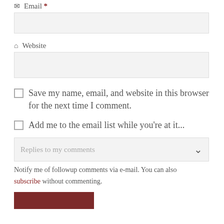✉ Email *
🏠 Website
Save my name, email, and website in this browser for the next time I comment.
Add me to the email list while you're at it...
Replies to my comments
Notify me of followup comments via e-mail. You can also subscribe without commenting.